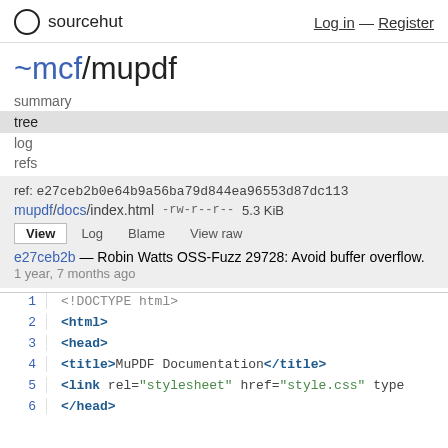sourcehut  Log in — Register
~mcf/mupdf
summary
tree
log
refs
ref: e27ceb2b0e64b9a56ba79d844ea96553d87dc113
mupdf/docs/index.html   -rw-r--r--   5.3 KiB
View  Log  Blame  View raw
e27ceb2b — Robin Watts OSS-Fuzz 29728: Avoid buffer overflow. 1 year, 7 months ago
1  <!DOCTYPE html>
2  <html>
3  <head>
4  <title>MuPDF Documentation</title>
5  <link rel="stylesheet" href="style.css" type
6  </head>